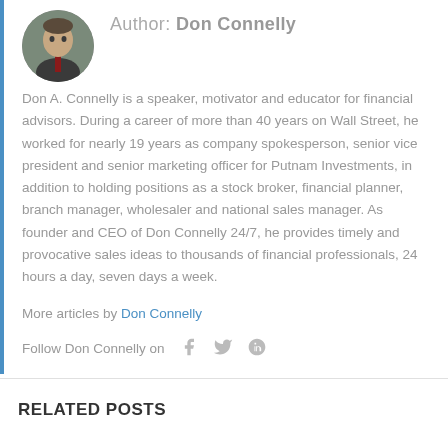Author: Don Connelly
[Figure (photo): Circular headshot photo of Don Connelly in a suit]
Don A. Connelly is a speaker, motivator and educator for financial advisors. During a career of more than 40 years on Wall Street, he worked for nearly 19 years as company spokesperson, senior vice president and senior marketing officer for Putnam Investments, in addition to holding positions as a stock broker, financial planner, branch manager, wholesaler and national sales manager. As founder and CEO of Don Connelly 24/7, he provides timely and provocative sales ideas to thousands of financial professionals, 24 hours a day, seven days a week.
More articles by Don Connelly
Follow Don Connelly on
RELATED POSTS